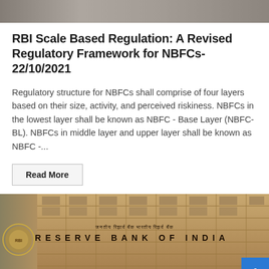[Figure (photo): Partial top image strip, appears to be top portion of a building or logo, cropped.]
RBI Scale Based Regulation: A Revised Regulatory Framework for NBFCs-22/10/2021
Regulatory structure for NBFCs shall comprise of four layers based on their size, activity, and perceived riskiness. NBFCs in the lowest layer shall be known as NBFC - Base Layer (NBFC-BL). NBFCs in middle layer and upper layer shall be known as NBFC -...
Read More
[Figure (photo): Photograph of the Reserve Bank of India building facade showing the RBI seal on the left and text 'RESERVE BANK OF INDIA' inscribed on the building. A blue scroll-to-top button is visible in the bottom-right corner.]